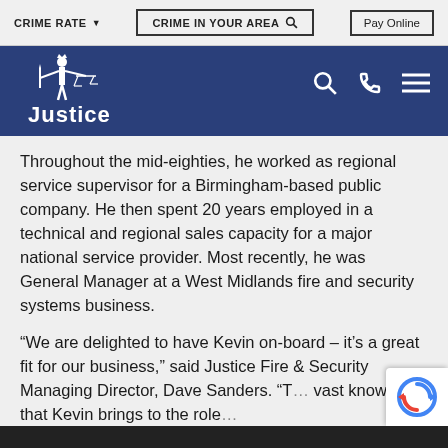CRIME RATE ▼   CRIME IN YOUR AREA 🔍   Pay Online
[Figure (logo): Justice Fire & Security website header with Justice logo (scales of justice figure), search, phone, and menu icons on dark blue background]
Throughout the mid-eighties, he worked as regional service supervisor for a Birmingham-based public company. He then spent 20 years employed in a technical and regional sales capacity for a major national service provider. Most recently, he was General Manager at a West Midlands fire and security systems business.
“We are delighted to have Kevin on-board – it’s a great fit for our business,” said Justice Fire & Security Managing Director, Dave Sanders. “T… vast knowledge that Kevin brings to the role…